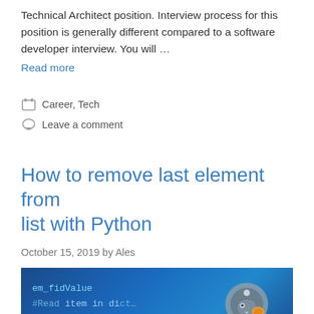Technical Architect position. Interview process for this position is generally different compared to a software developer interview. You will ...
Read more
Career, Tech
Leave a comment
How to remove last element from list with Python
October 15, 2019 by Ales
[Figure (screenshot): Screenshot of Python code editor showing lines: 'em_fidValue', '#Read item in dict', 'for key ...', with a Python logo (snake) on the right side, blue background]